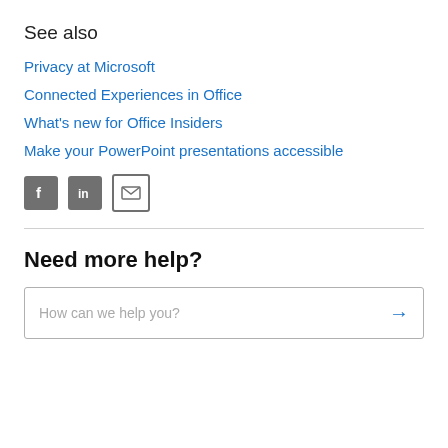See also
Privacy at Microsoft
Connected Experiences in Office
What's new for Office Insiders
Make your PowerPoint presentations accessible
[Figure (illustration): Social sharing icons: Facebook, LinkedIn, and Email (envelope)]
Need more help?
How can we help you?